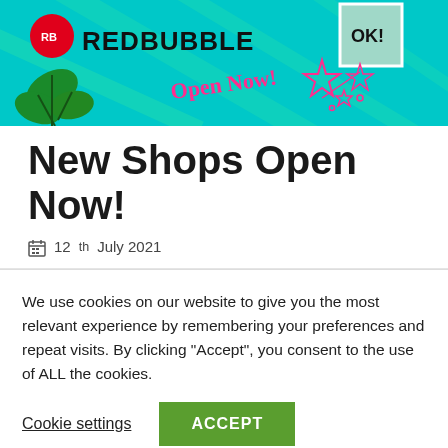[Figure (illustration): Redbubble banner with teal/cyan background, red RB circular logo, REDBUBBLE text in bold, plant leaves illustration, 'Open Now!' text in pink cursive, decorative pink stars, and a stamp-like box in the top right corner showing 'OK!']
New Shops Open Now!
12th July 2021
We use cookies on our website to give you the most relevant experience by remembering your preferences and repeat visits. By clicking "Accept", you consent to the use of ALL the cookies.
Cookie settings
ACCEPT